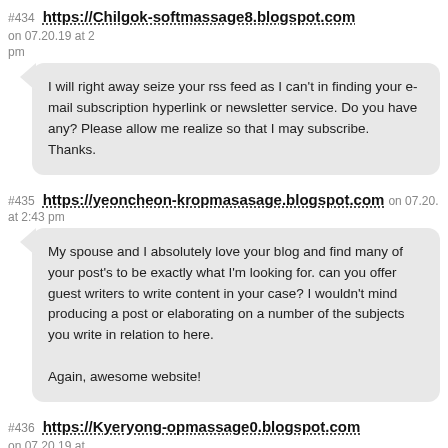#434 https://Chilgok-softmassage8.blogspot.com on 07.20.19 at 2 pm
I will right away seize your rss feed as I can't in finding your e-mail subscription hyperlink or newsletter service. Do you have any? Please allow me realize so that I may subscribe.
Thanks.
#435 https://yeoncheon-kropmasasage.blogspot.com on 07.20. at 2:43 pm
My spouse and I absolutely love your blog and find many of your post's to be exactly what I'm looking for. can you offer guest writers to write content in your case? I wouldn't mind producing a post or elaborating on a number of the subjects you write in relation to here.

Again, awesome website!
#436 https://Kyeryong-opmassage0.blogspot.com on 07.20.19 at